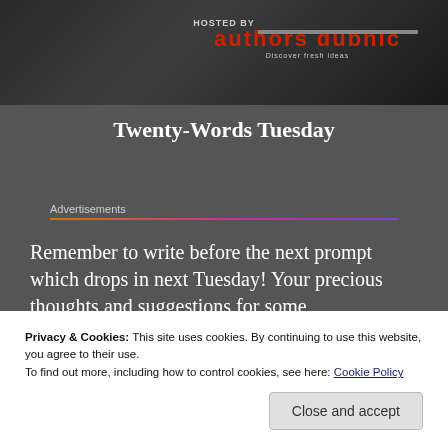[Figure (screenshot): Banner image with dark background, 'HOSTED BY' text and a red logo reading 'authors dubnic' with subtitle text, and a horizontal bar element on the right]
Twenty-Words Tuesday
Advertisements
Remember to write before the next prompt which drops in next Tuesday! Your precious thoughts and suggestions for some improvement are always welcome. We do appreciate everything, it gives us such motivation to continue to craft a place for your tale.
Privacy & Cookies: This site uses cookies. By continuing to use this website, you agree to their use.
To find out more, including how to control cookies, see here: Cookie Policy
Close and accept
your tale.